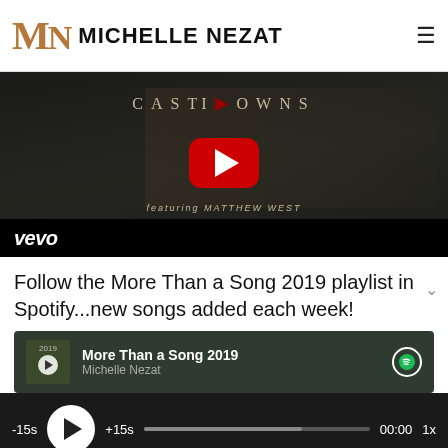MN MICHELLE NEZAT
[Figure (screenshot): YouTube video thumbnail showing Casting Crowns music video with Vevo branding, featuring a band performing with a red YouTube play button overlay]
Follow the More Than a Song 2019 playlist in Spotify...new songs added each week!
[Figure (screenshot): Spotify embedded playlist showing 'More Than a Song 2019' by Michelle Nezat with Spotify icon]
[Figure (screenshot): Audio podcast player bar with -15s, play button, +15s controls, progress bar showing 00:00 and 1x speed]
PODCAST // EPISODE 28  Send Voicemail